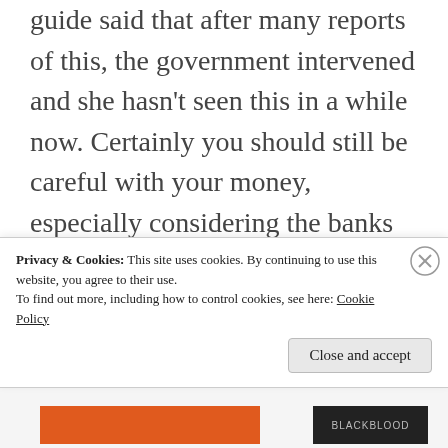guide said that after many reports of this, the government intervened and she hasn't seen this in a while now. Certainly you should still be careful with your money, especially considering the banks are not yet accepting foreign credit cards and you can only use cash.
Language
Privacy & Cookies: This site uses cookies. By continuing to use this website, you agree to their use.
To find out more, including how to control cookies, see here: Cookie Policy